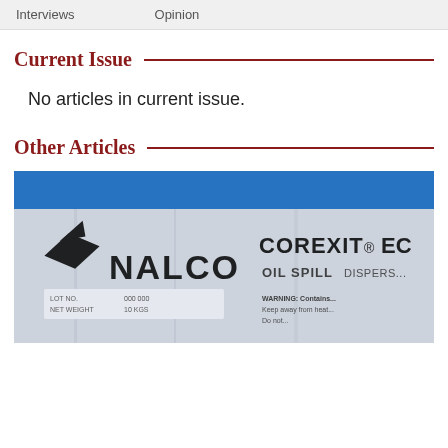Interviews   Opinion
Current Issue
No articles in current issue.
Other Articles
[Figure (photo): Photo of a Nalco product bag/container labeled 'COREXIT® ECO' and 'OIL SPILL...' with Nalco logo, blue and white packaging with warning text visible.]